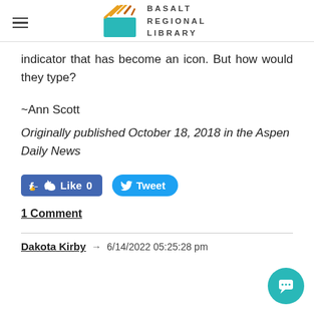BASALT REGIONAL LIBRARY
indicator that has become an icon. But how would they type?
~Ann Scott
Originally published October 18, 2018 in the Aspen Daily News
[Figure (other): Facebook Like 0 and Twitter Tweet social sharing buttons]
1 Comment
Dakota Kirby → 6/14/2022 05:25:28 pm